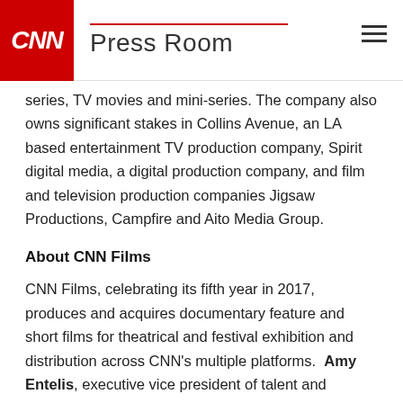Press Room
series, TV movies and mini-series. The company also owns significant stakes in Collins Avenue, an LA based entertainment TV production company, Spirit digital media, a digital production company, and film and television production companies Jigsaw Productions, Campfire and Aito Media Group.
About CNN Films
CNN Films, celebrating its fifth year in 2017, produces and acquires documentary feature and short films for theatrical and festival exhibition and distribution across CNN's multiple platforms.  Amy Entelis, executive vice president of talent and content development, oversees the strategy for CNN Films; Courtney Sexton, vice president for CNN Films, works day-to-day with filmmakers to oversee projects.  For more information about CNN Films, please visit www.CNN.com/CNNFilms and follow @CNNFilms via